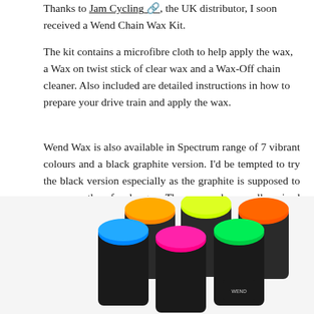Thanks to Jam Cycling, the UK distributor, I soon received a Wend Chain Wax Kit.
The kit contains a microfibre cloth to help apply the wax, a Wax on twist stick of clear wax and a Wax-Off chain cleaner. Also included are detailed instructions in how to prepare your drive train and apply the wax.
Wend Wax is also available in Spectrum range of 7 vibrant colours and a black graphite version. I'd be tempted to try the black version especially as the graphite is supposed to run smoother for longer. There are also smaller sized pocket wax tubs available to carry around with you in case you want to top up.
[Figure (photo): Photo of multiple Wend Wax twist sticks with colorful caps (orange, blue, pink, yellow/green, green, orange) arranged together, showing the Spectrum range of wax colors.]